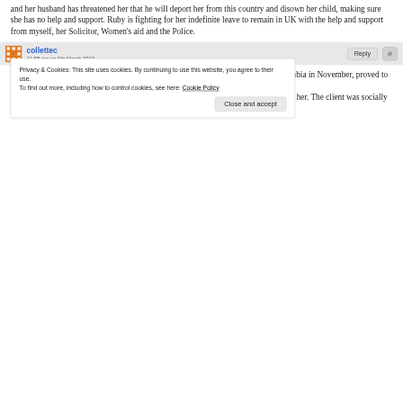and her husband has threatened her that he will deport her from this country and disown her child, making sure she has no help and support. Ruby is fighting for her indefinite leave to remain in UK with the help and support from myself, her Solicitor, Women's aid and the Police.
collettec
11:58 am on 6th March 2013
Supporting a client who arrived in the UK with her EEA National husband from Gambia in November, proved to be a challenge.
Not long after arriving her husband began sexually,phisically and financially abusing her. The client was socially isolated with no family or friends I began supporting her on a weekly basis when she
Privacy & Cookies: This site uses cookies. By continuing to use this website, you agree to their use.
To find out more, including how to control cookies, see here: Cookie Policy
Close and accept